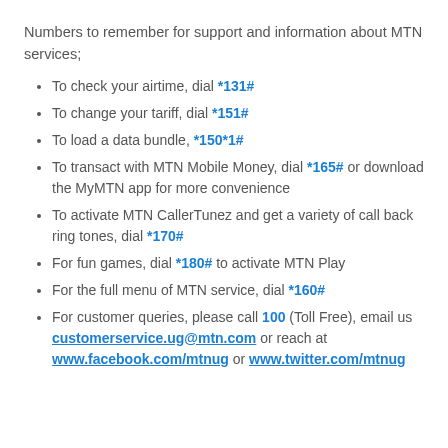Numbers to remember for support and information about MTN services;
To check your airtime, dial *131#
To change your tariff, dial *151#
To load a data bundle, *150*1#
To transact with MTN Mobile Money, dial *165# or download the MyMTN app for more convenience
To activate MTN CallerTunez and get a variety of call back ring tones, dial *170#
For fun games, dial *180# to activate MTN Play
For the full menu of MTN service, dial *160#
For customer queries, please call 100 (Toll Free), email us customerservice.ug@mtn.com or reach at www.facebook.com/mtnug or www.twitter.com/mtnug